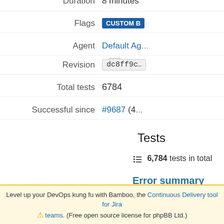| Label | Value |
| --- | --- |
| Duration | 8 minutes |
| Flags | CUSTOM B |
| Agent | Default Ag... |
| Revision | dc8ff9c... |
| Total tests | 6784 |
| Successful since | #9687 (4... |
Tests
6,784 tests in total
Error summary
The build generated some errors
From https://github.com/phpbb
* branch           refs/pull
  % Total    % Received % Xfe
Current
Level up your DevOps kung fu with Bamboo, the Continuous Delivery tool for Jira teams. (Free open source license for phpBB Ltd.)